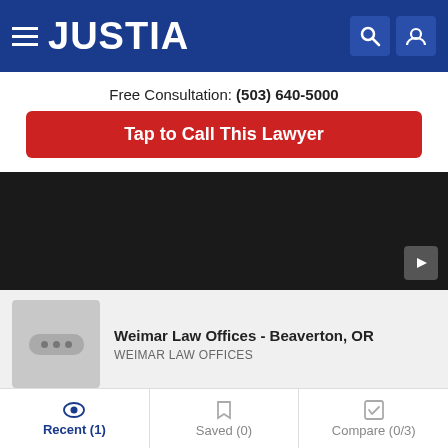JUSTIA
Free Consultation: (503) 640-5000
Tap to Call This Lawyer
[Figure (screenshot): Dark video player area with play button icon in bottom-right corner]
[Figure (screenshot): Video thumbnail card showing Weimar Law Offices - Beaverton, OR with placeholder icon and subtitle WEIMAR LAW OFFICES]
Social Media
Recent (1) | Saved (0) | Compare (0/3)